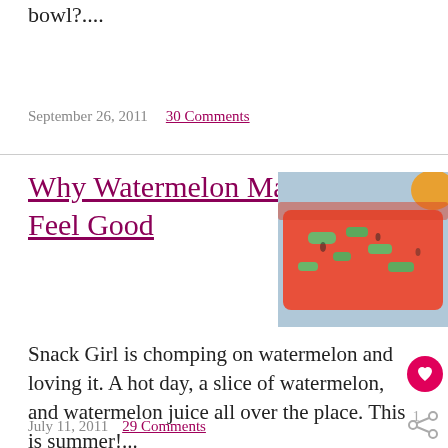bowl?....
September 26, 2011  30 Comments
Why Watermelon Makes Us Feel Good
[Figure (photo): A plate of watermelon pieces with green cucumber or rind pieces, close-up photo]
Snack Girl is chomping on watermelon and loving it. A hot day, a slice of watermelon, and watermelon juice all over the place. This is summer!...
July 11, 2011  29 Comments